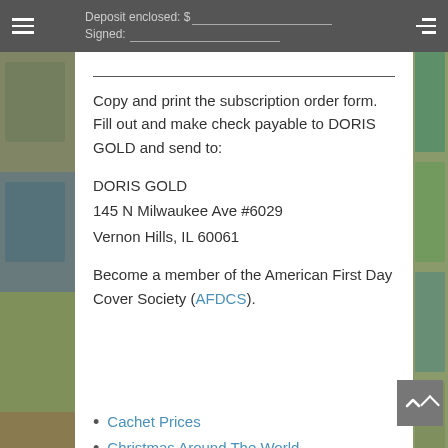Deposit enclosed: $___  Signed: ___
Copy and print the subscription order form. Fill out and make check payable to DORIS GOLD and send to:
DORIS GOLD
145 N Milwaukee Ave #6029
Vernon Hills, IL 60061
Become a member of the American First Day Cover Society (AFDCS).
[Figure (photo): Collage of colorful first day cover envelopes with stamps]
Cachet Prices
Christmas Around The World